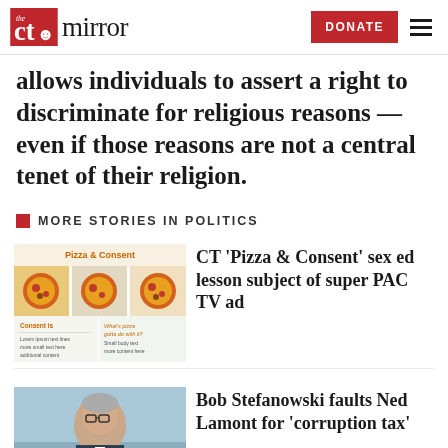The CT Mirror — DONATE [hamburger menu]
allows individuals to assert a right to discriminate for religious reasons — even if those reasons are not a central tenet of their religion.
MORE STORIES IN POLITICS
[Figure (photo): Thumbnail image for 'Pizza & Consent' sex ed lesson article showing a pizza-themed consent education worksheet]
CT 'Pizza & Consent' sex ed lesson subject of super PAC TV ad
[Figure (photo): Thumbnail photo of Bob Stefanowski, a man wearing glasses]
Bob Stefanowski faults Ned Lamont for 'corruption tax'